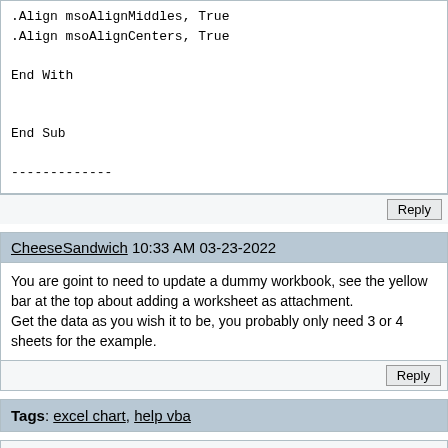.Align msoAlignMiddles, True
.Align msoAlignCenters, True

End With


End Sub

-------------
Reply
CheeseSandwich 10:33 AM 03-23-2022
You are goint to need to update a dummy workbook, see the yellow bar at the top about adding a worksheet as attachment.
Get the data as you wish it to be, you probably only need 3 or 4 sheets for the example.
Reply
Tags: excel chart, help vba
Up
Powered by vBulletin® Version 4.1.8
Copyright © 2022 vBulletin Solutions, Inc. All rights reserved.
Search Engine Friendly URLs by vBSEO 3.6.0 RC 1